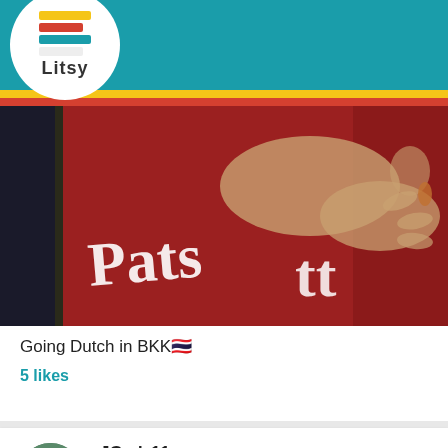[Figure (screenshot): Litsy app navigation bar with logo and icons for home, search, add, notifications, and profile]
[Figure (photo): Close-up photo of a book with partial text 'Pats...' visible on cover, held by hands, with red background]
Going Dutch in BKK🇹🇭
5 likes
[Figure (photo): User avatar for JGadz11 - person wearing teal headwrap with yellow earrings]
JGadz11
The Empire of Gold | S. A. Chakraborty
[Figure (photo): Partial view of a book cover with yellow and black decorative pattern]